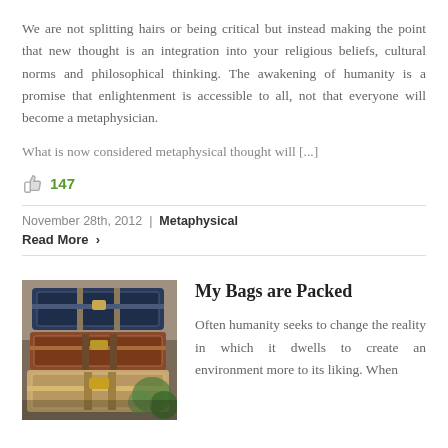We are not splitting hairs or being critical but instead making the point that new thought is an integration into your religious beliefs, cultural norms and philosophical thinking. The awakening of humanity is a promise that enlightenment is accessible to all, not that everyone will become a metaphysician.
What is now considered metaphysical thought will [...]
147
November 28th, 2012 | Metaphysical
Read More >
[Figure (photo): Stack of vintage luggage suitcases and trunks in brown, red, and navy blue colors with green foliage visible in background]
My Bags are Packed
Often humanity seeks to change the reality in which it dwells to create an environment more to its liking. When